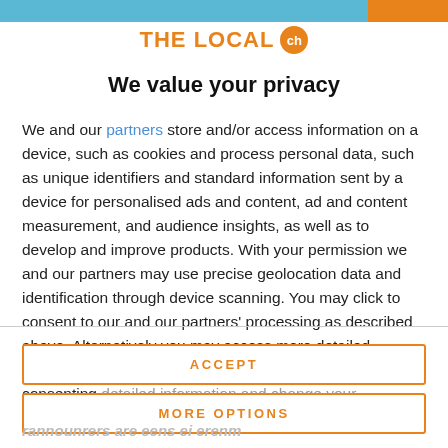[Figure (logo): THE LOCAL ch logo with orange text and circular ch badge]
We value your privacy
We and our partners store and/or access information on a device, such as cookies and process personal data, such as unique identifiers and standard information sent by a device for personalised ads and content, ad and content measurement, and audience insights, as well as to develop and improve products. With your permission we and our partners may use precise geolocation data and identification through device scanning. You may click to consent to our and our partners' processing as described above. Alternatively you may access more detailed information and change your preferences before consenting
ACCEPT
MORE OPTIONS